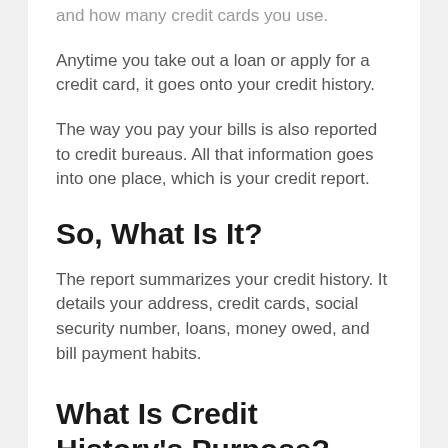and how many credit cards you use.
Anytime you take out a loan or apply for a credit card, it goes onto your credit history.
The way you pay your bills is also reported to credit bureaus. All that information goes into one place, which is your credit report.
So, What Is It?
The report summarizes your credit history. It details your address, credit cards, social security number, loans, money owed, and bill payment habits.
What Is Credit History's Purpose?